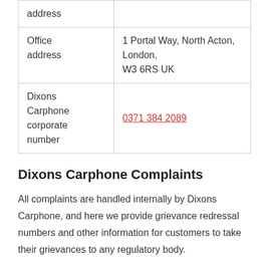| address |  |
| Office address | 1 Portal Way, North Acton, London, W3 6RS UK |
| Dixons Carphone corporate number | 0371 384 2089 |
Dixons Carphone Complaints
All complaints are handled internally by Dixons Carphone, and here we provide grievance redressal numbers and other information for customers to take their grievances to any regulatory body.